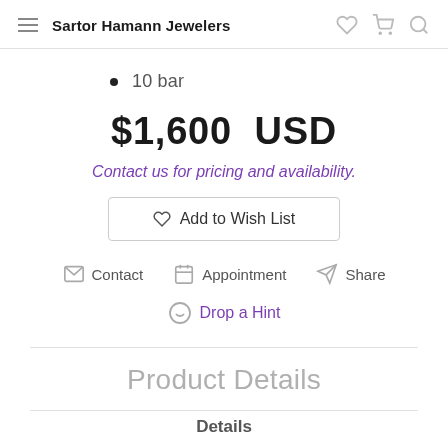Sartor Hamann Jewelers
10 bar
$1,600  USD
Contact us for pricing and availability.
Add to Wish List
Contact   Appointment   Share
Drop a Hint
Product Details
Details